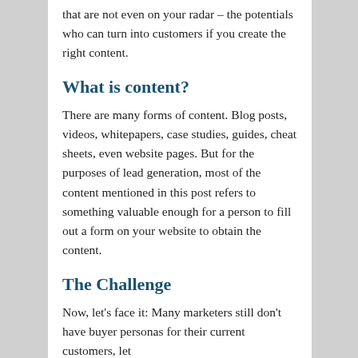that are not even on your radar – the potentials who can turn into customers if you create the right content.
What is content?
There are many forms of content. Blog posts, videos, whitepapers, case studies, guides, cheat sheets, even website pages. But for the purposes of lead generation, most of the content mentioned in this post refers to something valuable enough for a person to fill out a form on your website to obtain the content.
The Challenge
Now, let's face it: Many marketers still don't have buyer personas for their current customers, let